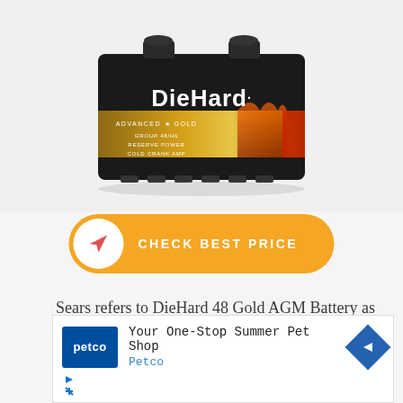[Figure (photo): DieHard Advanced Gold AGM car battery, black case with gold label branding, viewed from front-top angle]
[Figure (other): Orange rounded button with white circle icon (paper airplane/send icon) and text CHECK BEST PRICE in white uppercase letters]
Sears refers to DieHard 48 Gold AGM Battery as "the cream" of the DieHard crop. Its external cover consists of polypropylene. It is 20 times able to
[Figure (other): Petco advertisement banner: Your One-Stop Summer Pet Shop, Petco, with Petco logo and blue diamond arrow icon]